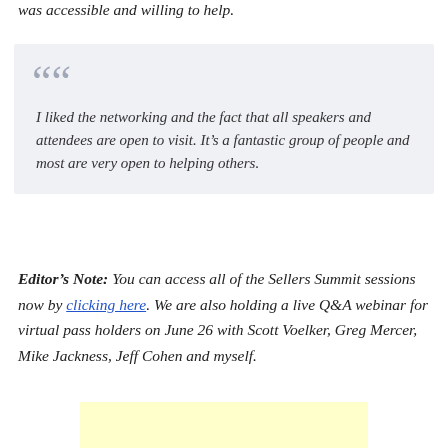was accessible and willing to help.
I liked the networking and the fact that all speakers and attendees are open to visit. It’s a fantastic group of people and most are very open to helping others.
Editor’s Note: You can access all of the Sellers Summit sessions now by clicking here. We are also holding a live Q&A webinar for virtual pass holders on June 26 with Scott Voelker, Greg Mercer, Mike Jackness, Jeff Cohen and myself.
[Figure (other): Advertisement banner with light yellow background]